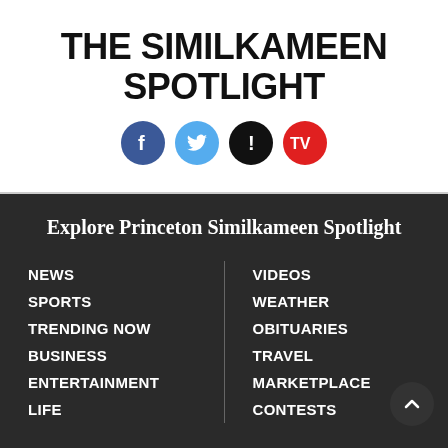THE SIMILKAMEEN SPOTLIGHT
[Figure (logo): Social media icons: Facebook (dark blue circle), Twitter (light blue circle), Alert/Exclamation (black circle), TV (red circle)]
Explore Princeton Similkameen Spotlight
NEWS
SPORTS
TRENDING NOW
BUSINESS
ENTERTAINMENT
LIFE
VIDEOS
WEATHER
OBITUARIES
TRAVEL
MARKETPLACE
CONTESTS